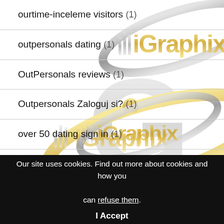ourtime-inceleme visitors (1)
outpersonals dating (1)
OutPersonals reviews (1)
Outpersonals Zaloguj si? (1)
over 50 dating sign in (1)
palm-bay live escort review (1)
[Figure (logo): iGraphix logo — gold and silver stylized text with orbital ring graphic, repeated/tiled as watermark background]
Our site uses cookies. Find out more about cookies and how you can refuse them.
I Accept